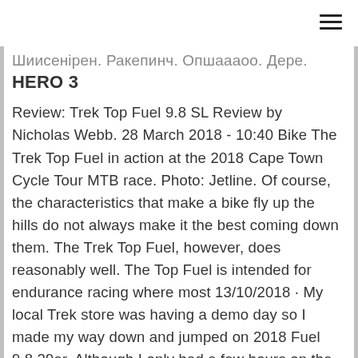HERO 3
Review: Trek Top Fuel 9.8 SL Review by Nicholas Webb. 28 March 2018 - 10:40 Bike The Trek Top Fuel in action at the 2018 Cape Town Cycle Tour MTB race. Photo: Jetline. Of course, the characteristics that make a bike fly up the hills do not always make it the best coming down them. The Trek Top Fuel, however, does reasonably well. The Top Fuel is intended for endurance racing where most 13/10/2018 · My local Trek store was having a demo day so I made my way down and jumped on 2018 Fuel 9.8 29er. Although I only had a few hours on the